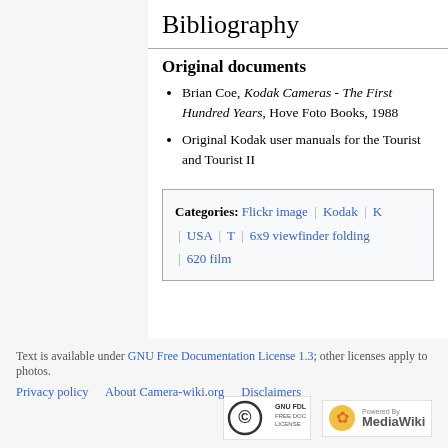Bibliography
Original documents
Brian Coe, Kodak Cameras - The First Hundred Years, Hove Foto Books, 1988
Original Kodak user manuals for the Tourist and Tourist II
Categories: Flickr image | Kodak | K | USA | T | 6x9 viewfinder folding | 620 film
Text is available under GNU Free Documentation License 1.3; other licenses apply to photos.
Privacy policy  About Camera-wiki.org  Disclaimers